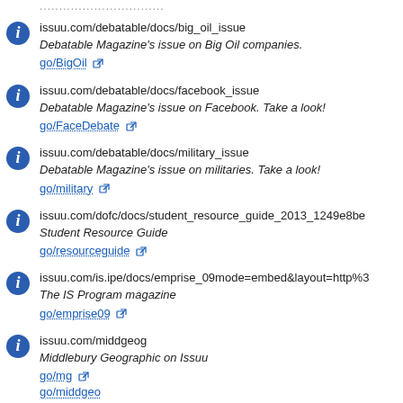issuu.com/debatable/docs/big_oil_issue
Debatable Magazine's issue on Big Oil companies.
go/BigOil
issuu.com/debatable/docs/facebook_issue
Debatable Magazine's issue on Facebook. Take a look!
go/FaceDebate
issuu.com/debatable/docs/military_issue
Debatable Magazine's issue on militaries. Take a look!
go/military
issuu.com/dofc/docs/student_resource_guide_2013_1249e8be
Student Resource Guide
go/resourceguide
issuu.com/is.ipe/docs/emprise_09mode=embed&layout=http%3
The IS Program magazine
go/emprise09
issuu.com/middgeog
Middlebury Geographic on Issuu
go/mg
go/middgeo